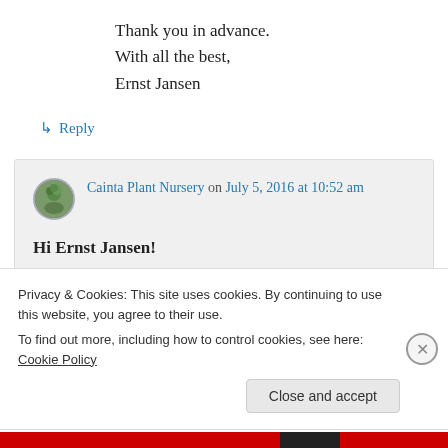Thank you in advance.
With all the best,
Ernst Jansen
↳ Reply
Cainta Plant Nursery on July 5, 2016 at 10:52 am
Hi Ernst Jansen!
Privacy & Cookies: This site uses cookies. By continuing to use this website, you agree to their use.
To find out more, including how to control cookies, see here: Cookie Policy
Close and accept